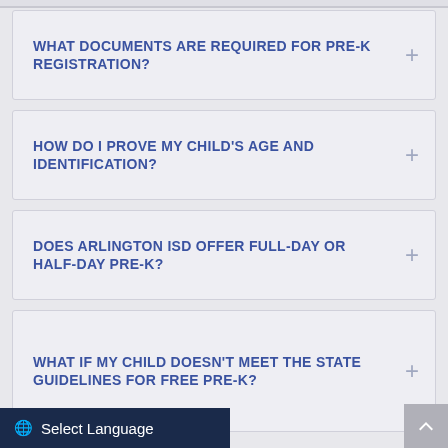WHAT DOCUMENTS ARE REQUIRED FOR PRE-K REGISTRATION?
HOW DO I PROVE MY CHILD'S AGE AND IDENTIFICATION?
DOES ARLINGTON ISD OFFER FULL-DAY OR HALF-DAY PRE-K?
WHAT IF MY CHILD DOESN'T MEET THE STATE GUIDELINES FOR FREE PRE-K?
Select Language